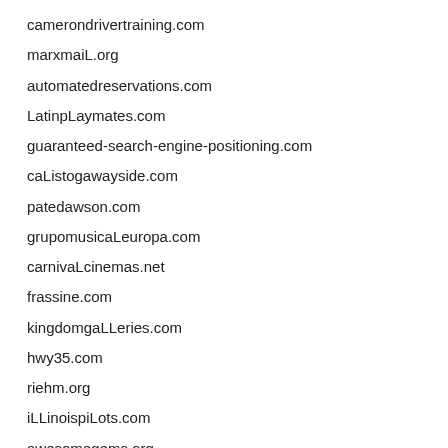camerondrivertraining.com
marxmaiL.org
automatedreservations.com
LatinpLaymates.com
guaranteed-search-engine-positioning.com
caListogawayside.com
patedawson.com
grupomusicaLeuropa.com
carnivaLcinemas.net
frassine.com
kingdomgaLLeries.com
hwy35.com
riehm.org
iLLinoispiLots.com
awesomegems.org
twin-spa.org